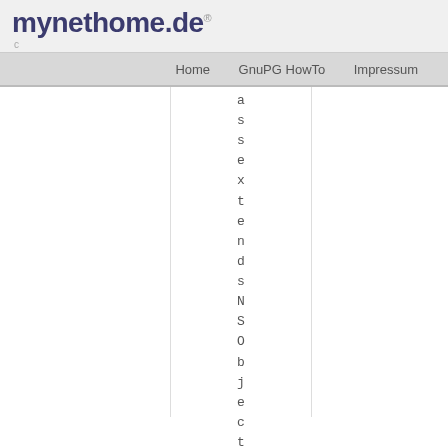mynethome.de
Home  GnuPG HowTo  Impressum
a
s
s
e
x
t
e
n
d
s
N
S
O
b
j
e
c
t
{
}